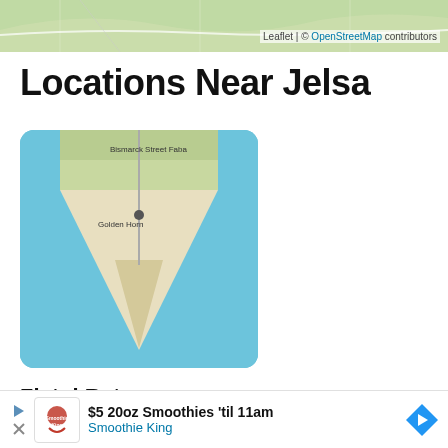[Figure (map): Top portion of an OpenStreetMap map showing green terrain, partially cropped]
Leaflet | © OpenStreetMap contributors
Locations Near Jelsa
[Figure (map): Thumbnail map of Zlatni Rat showing a distinctive triangular beach peninsula extending into blue water with labels 'Bismarck Street Faba' and 'Golden Horn']
Zlatni Rat
Splitsko-dalmatinska županija, Croatia
7.21 miles away
[Figure (map): Thumbnail map showing road layout near a location, with road labels partially visible]
$5 20oz Smoothies 'til 11am
Smoothie King